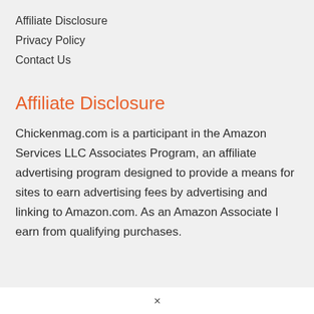Affiliate Disclosure
Privacy Policy
Contact Us
Affiliate Disclosure
Chickenmag.com is a participant in the Amazon Services LLC Associates Program, an affiliate advertising program designed to provide a means for sites to earn advertising fees by advertising and linking to Amazon.com. As an Amazon Associate I earn from qualifying purchases.